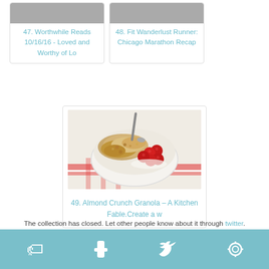[Figure (photo): Card 47: Worthwhile Reads 10/16/16 - Loved and Worthy of Lo, thumbnail image at top]
47. Worthwhile Reads 10/16/16 - Loved and Worthy of Lo
[Figure (photo): Card 48: Fit Wanderlust Runner: Chicago Marathon Recap, thumbnail image at top]
48. Fit Wanderlust Runner: Chicago Marathon Recap
[Figure (photo): Bowl of almond crunch granola with raspberries and spoon on red and white checkered cloth]
49. Almond Crunch Granola – A Kitchen Fable.Create a w
The collection has closed. Let other people know about it through twitter.
Pinterest | Facebook | Twitter | Other social icon